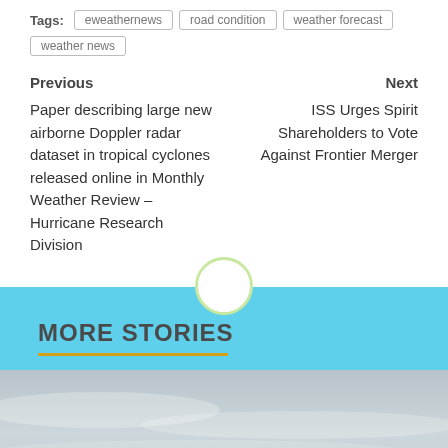Tags: eweathernews | road condition | weather forecast | weather news
Previous
Paper describing large new airborne Doppler radar dataset in tropical cyclones released online in Monthly Weather Review – Hurricane Research Division
Next
ISS Urges Spirit Shareholders to Vote Against Frontier Merger
MORE STORIES
[Figure (photo): Outdoor sky photo with overcast grey clouds, an antenna visible at bottom right, and a yellow back-to-top button overlay]